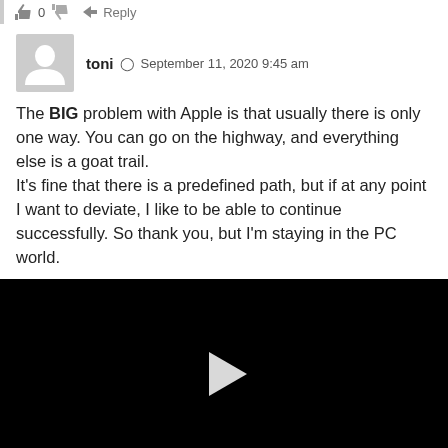👍 0 👎 ↩ Reply
toni ⊙ September 11, 2020 9:45 am
[Figure (illustration): Grey silhouette avatar icon of a person, used as a default user profile picture]
The BIG problem with Apple is that usually there is only one way. You can go on the highway, and everything else is a goat trail.
It's fine that there is a predefined path, but if at any point I want to deviate, I like to be able to continue successfully. So thank you, but I'm staying in the PC world.
[Figure (other): Black video player with a white play button in the center]